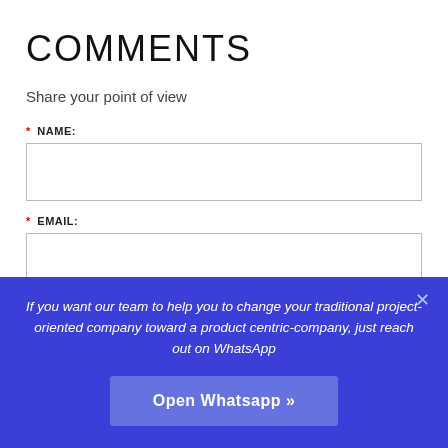COMMENTS
Share your point of view
* NAME:
* EMAIL:
If you want our team to help you to change your traditional project-oriented company toward a product centric-company, just reach out on WhatsApp
Open Whatsapp »